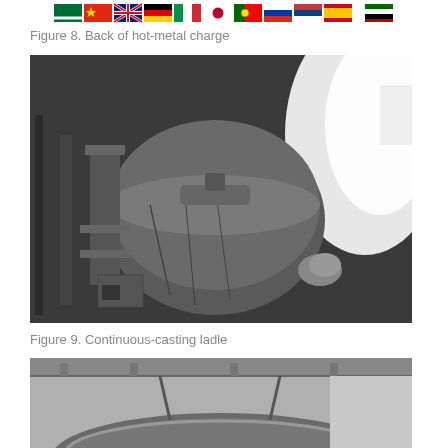[Figure (illustration): Row of country flags: Saudi Arabia, China, UK, Germany, Italy, Japan, Portugal, Russia, Serbia, Spain, Kenya]
Figure 8. Back of hot-metal charge
[Figure (photo): Black and white photograph showing back of hot-metal charge with industrial ladle/vessel tilted, bright light visible in background]
Figure 9. Continuous-casting ladle
[Figure (photo): Black and white photograph showing the top portion of a continuous-casting ladle in industrial setting]